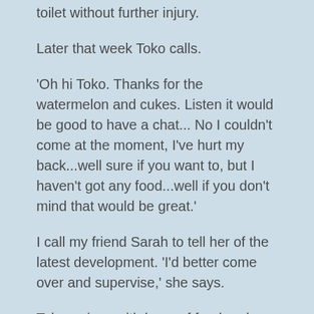toilet without further injury.
Later that week Toko calls.
'Oh hi Toko. Thanks for the watermelon and cukes. Listen it would be good to have a chat... No I couldn't come at the moment, I've hurt my back...well sure if you want to, but I haven't got any food...well if you don't mind that would be great.'
I call my friend Sarah to tell her of the latest development. 'I'd better come over and supervise,' she says.
Toko arrives with bags of food and gets busy. He pulls my mattress closer to the kitchen — with me on it, no problem — and I get a really good look at his feet and calves which are slender in contrast to